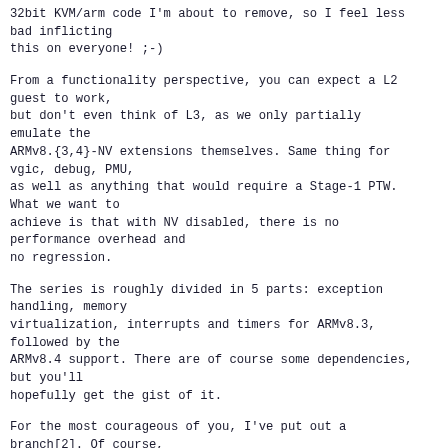32bit KVM/arm code I'm about to remove, so I feel less bad inflicting
this on everyone! ;-)
From a functionality perspective, you can expect a L2 guest to work,
but don't even think of L3, as we only partially emulate the
ARMv8.{3,4}-NV extensions themselves. Same thing for vgic, debug, PMU,
as well as anything that would require a Stage-1 PTW. What we want to
achieve is that with NV disabled, there is no performance overhead and
no regression.
The series is roughly divided in 5 parts: exception handling, memory
virtualization, interrupts and timers for ARMv8.3, followed by the
ARMv8.4 support. There are of course some dependencies, but you'll
hopefully get the gist of it.
For the most courageous of you, I've put out a branch[2]. Of course,
you'll need some userspace. Andre maintains a hacked version of
kvmtool[3] that takes a --nested option, allowing the guest to be